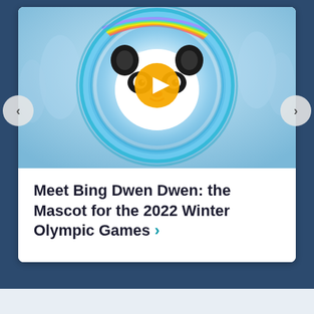[Figure (photo): Bing Dwen Dwen, the 2022 Winter Olympics mascot panda character, shown in a circular ice/bubble design with rainbow swirls and a golden play button overlay. Winter snowy background visible.]
Meet Bing Dwen Dwen: the Mascot for the 2022 Winter Olympic Games >